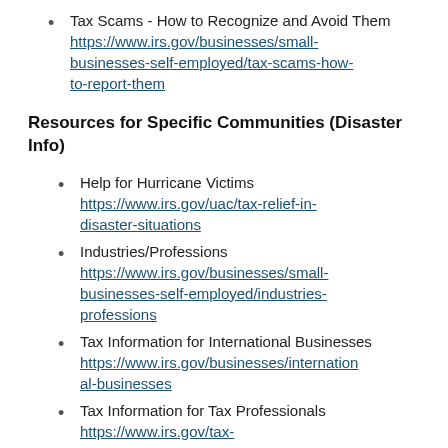Tax Scams - How to Recognize and Avoid Them
https://www.irs.gov/businesses/small-businesses-self-employed/tax-scams-how-to-report-them
Resources for Specific Communities (Disaster Info)
Help for Hurricane Victims
https://www.irs.gov/uac/tax-relief-in-disaster-situations
Industries/Professions
https://www.irs.gov/businesses/small-businesses-self-employed/industries-professions
Tax Information for International Businesses
https://www.irs.gov/businesses/international-businesses
Tax Information for Tax Professionals
https://www.irs.gov/tax-